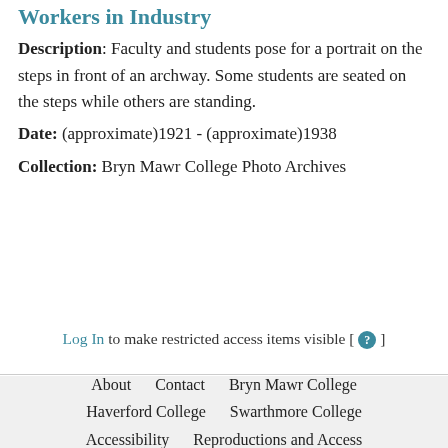Workers in Industry
Description: Faculty and students pose for a portrait on the steps in front of an archway. Some students are seated on the steps while others are standing.
Date: (approximate)1921 - (approximate)1938
Collection: Bryn Mawr College Photo Archives
Log In to make restricted access items visible [ ? ]
About   Contact   Bryn Mawr College   Haverford College   Swarthmore College   Accessibility   Reproductions and Access